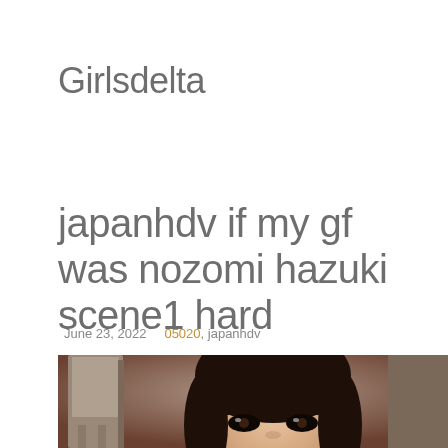Girlsdelta
japanhdv if my gf was nozomi hazuki scene1 hard
June 23, 2022  05020, japanhdv
[Figure (photo): Portrait photo of a young woman with dark hair and bangs, partial face visible, indoor setting with furniture in background]